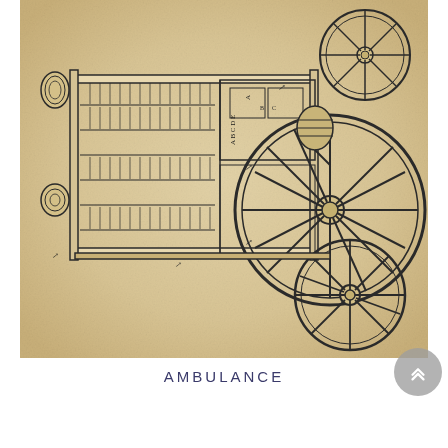[Figure (illustration): Historical technical illustration of an ambulance wagon, shown in a cross-sectional/cutaway side view on aged parchment-like paper. The drawing depicts a wheeled cart or carriage with large spoked wheels, interior compartments with shelved or slatted sections, rolled items, and various labeled components. The style is a detailed pen-and-ink engineering/schematic drawing reminiscent of 18th or 19th century military ambulance design.]
AMBULANCE